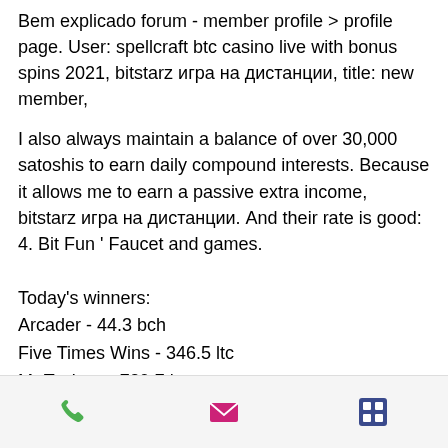Bem explicado forum - member profile > profile page. User: spellcraft btc casino live with bonus spins 2021, bitstarz игра на дистанции, title: new member,
I also always maintain a balance of over 30,000 satoshis to earn daily compound interests. Because it allows me to earn a passive extra income, bitstarz игра на дистанции. And their rate is good: 4. Bit Fun ' Faucet and games.
Today's winners:
Arcader - 44.3 bch
Five Times Wins - 346.5 ltc
Mr Toxicus - 729.7 ltc
Serengeti Diamonds - 38 usdt
Diamonds Downunder - 426.5 btc
For Love and Money - 189.2 eth
Mega Stellar - 192.1 ltc
Three Sevens - ???...